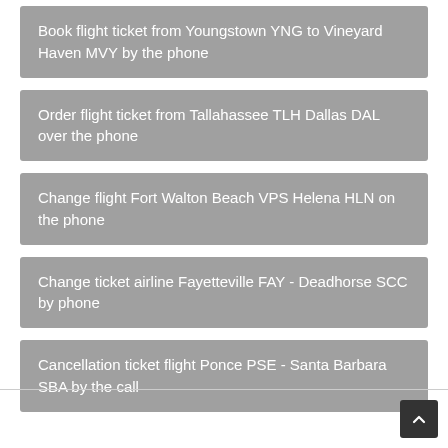Book flight ticket from Youngstown YNG to Vineyard Haven MVY by the phone
Order flight ticket from Tallahassee TLH Dallas DAL over the phone
Change flight Fort Walton Beach VPS Helena HLN on the phone
Change ticket airline Fayetteville FAY - Deadhorse SCC by phone
Cancellation ticket flight Ponce PSE - Santa Barbara SBA by the call